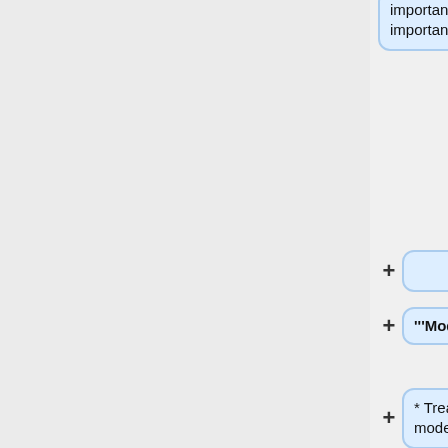important features may not be important in the local context.
'''Model Agnostic'''
* Treat the original, given model as a black box.
'''Global Perspective''' (explain the model)
* Select a few